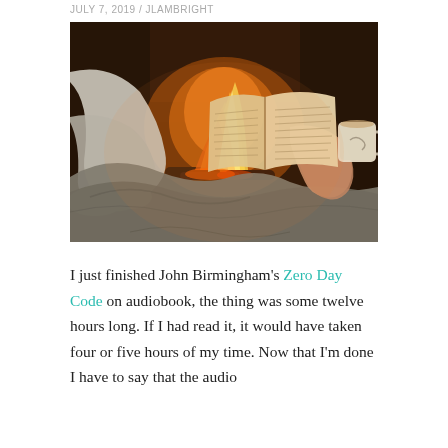JULY 7, 2019 / JLAMBRIGHT
[Figure (photo): Person reclining by a fireplace, holding an open book and a mug, covered with a grey blanket, socks visible near the flames]
I just finished John Birmingham's Zero Day Code on audiobook, the thing was some twelve hours long. If I had read it, it would have taken four or five hours of my time. Now that I'm done I have to say that the audio